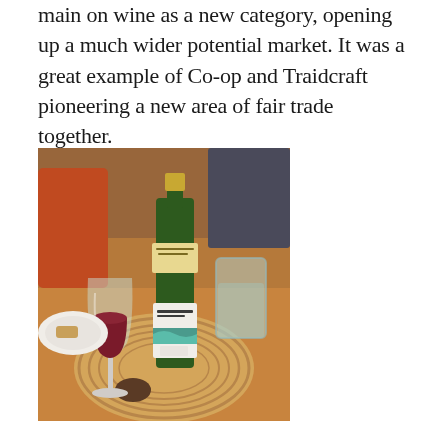main on wine as a new category, opening up a much wider potential market. It was a great example of Co-op and Traidcraft pioneering a new area of fair trade together.
[Figure (photo): A photo of a Traidcraft wine bottle (green bottle with white label) on a wooden table with a wicker placemat, a glass of red wine beside it, and people in the background at a dining table.]